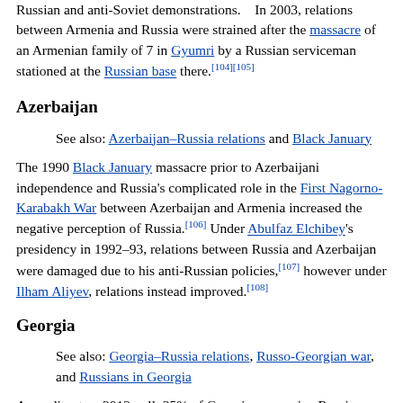Russian and anti-Soviet demonstrations. ... In 2003, relations between Armenia and Russia were strained after the massacre of an Armenian family of 7 in Gyumri by a Russian serviceman stationed at the Russian base there.[104][105]
Azerbaijan
See also: Azerbaijan–Russia relations and Black January
The 1990 Black January massacre prior to Azerbaijani independence and Russia's complicated role in the First Nagorno-Karabakh War between Azerbaijan and Armenia increased the negative perception of Russia.[106] Under Abulfaz Elchibey's presidency in 1992–93, relations between Russia and Azerbaijan were damaged due to his anti-Russian policies,[107] however under Ilham Aliyev, relations instead improved.[108]
Georgia
See also: Georgia–Russia relations, Russo-Georgian war, and Russians in Georgia
According to a 2012 poll, 35% of Georgians perceive Russia as Georgia's biggest threat, while the greatest enemy signifies the